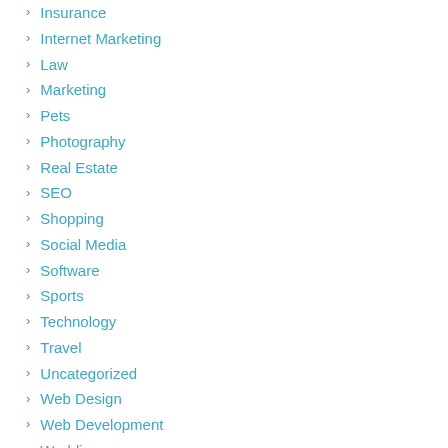Insurance
Internet Marketing
Law
Marketing
Pets
Photography
Real Estate
SEO
Shopping
Social Media
Software
Sports
Technology
Travel
Uncategorized
Web Design
Web Development
Wedding
Meta